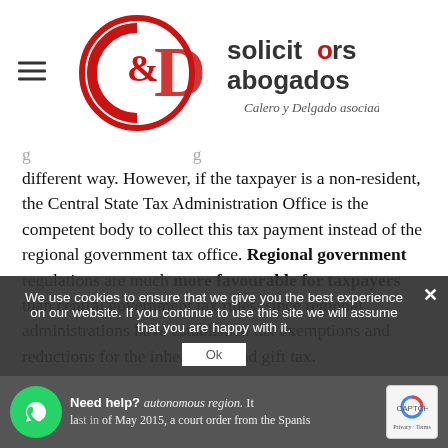[Figure (logo): C&D Solicitors Abogados - Calero y Delgado asociados logo with red circle and D emblem]
different way. However, if the taxpayer is a non-resident, the Central State Tax Administration Office is the competent body to collect this tax payment instead of the regional government tax office. Regional government regulations are much more favourable for taxpayers than central government tax rules, since regional administrations have established tax exemptions and reductions for the inheritance and gift tax.
We use cookies to ensure that we give you the best experience on our website. If you continue to use this site we will assume that you are happy with it.
Need help? autonomous region. It last in of May 2015, a court order from the Spanish...